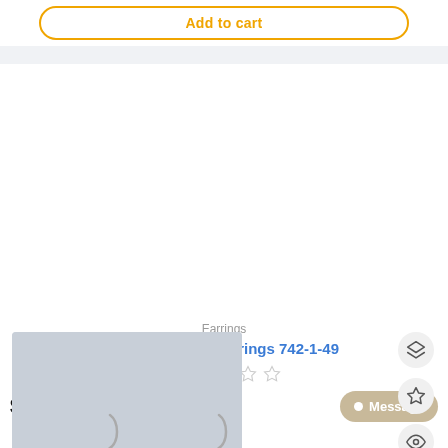Add to cart
[Figure (photo): Two brown coconut shell earrings with cream/white curved stripe designs, hanging on silver fish-hook wires, displayed on a light blue-gray background.]
Earrings
Coconut Shell Earrings 742-1-49
☆☆☆☆☆
$9.99
Message